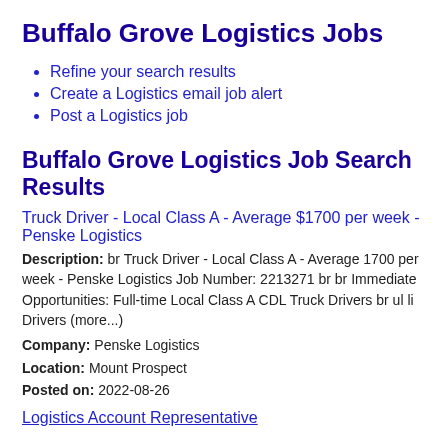Buffalo Grove Logistics Jobs
Refine your search results
Create a Logistics email job alert
Post a Logistics job
Buffalo Grove Logistics Job Search Results
Truck Driver - Local Class A - Average $1700 per week - Penske Logistics
Description: br Truck Driver - Local Class A - Average 1700 per week - Penske Logistics Job Number: 2213271 br br Immediate Opportunities: Full-time Local Class A CDL Truck Drivers br ul li Drivers (more...)
Company: Penske Logistics
Location: Mount Prospect
Posted on: 2022-08-26
Logistics Account Representative